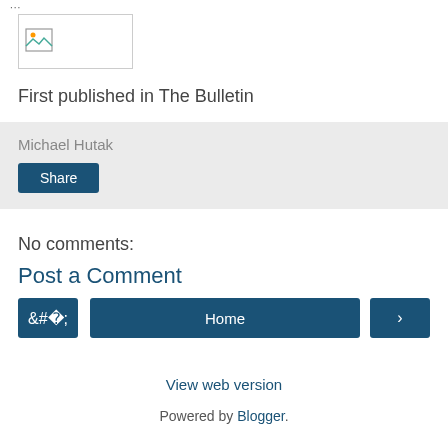[Figure (illustration): Small broken image placeholder icon in a bordered box]
First published in The Bulletin
Michael Hutak
Share
No comments:
Post a Comment
‹
Home
›
View web version
Powered by Blogger.